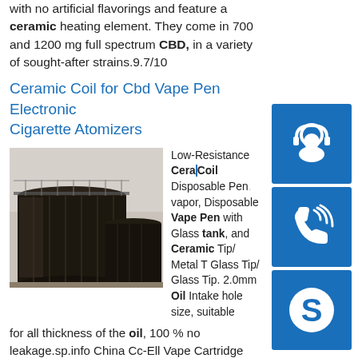with no artificial flavorings and feature a ceramic heating element. They come in 700 and 1200 mg full spectrum CBD, in a variety of sought-after strains.9.7/10
Ceramic Coil for Cbd Vape Pen Electronic Cigarette Atomizers
[Figure (photo): Photo of large industrial black cylindrical storage tanks]
Low-Resistance Ceramic Coil Disposable Pen vapor, Disposable Vape Pen with Glass tank, and Ceramic Tip/ Metal Tip/ Glass Tip/ Glass Tip. 2.0mm Oil Intake hole size, suitable for all thickness of the oil, 100 % no leakage.sp.info China Cc-Ell Vape Cartridge Ceramic 510 Thick Oil Tank ...szvape. Origin. China. Product Description. CC-ELL Vape Cartridge Ceramic 510 Thick Oil Tank Ceramic Coil 0.5ml 1.0ml Glass Atomizer 2.0mm holes CBD Cartridge sp.info Ceramic Mouthpieces Cbd Tank Coil Oil
[Figure (illustration): Blue icon with white headset/support agent silhouette]
[Figure (illustration): Blue icon with white phone/call silhouette]
[Figure (illustration): Blue icon with white Skype logo]